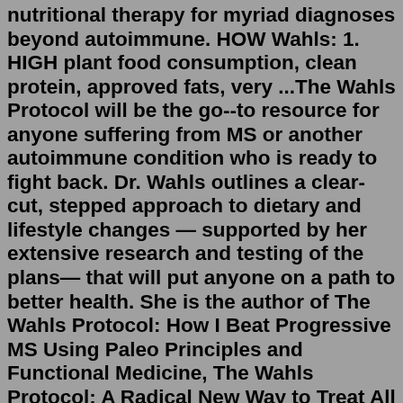nutritional therapy for myriad diagnoses beyond autoimmune. HOW Wahls: 1. HIGH plant food consumption, clean protein, approved fats, very ...The Wahls Protocol will be the go--to resource for anyone suffering from MS or another autoimmune condition who is ready to fight back. Dr. Wahls outlines a clear-cut, stepped approach to dietary and lifestyle changes — supported by her extensive research and testing of the plans— that will put anyone on a path to better health. She is the author of The Wahls Protocol: How I Beat Progressive MS Using Paleo Principles and Functional Medicine, The Wahls Protocol: A Radical New Way to Treat All Chronic Autoimmune Conditions Using Paleo Principles (paperback), and the cookbook The Wahls Protocol Cooking for Life: The Revolutionary Modern Paleo Plan to Treat All Chronic ...Feels like mostly repeated info and recipes from the Wahls Protocol book. Not sure it's worth the $14 if you already have that book. There are some online bonuses that come with it (grocery list etc.) but I'm not sure that info isn't also available elsewhere